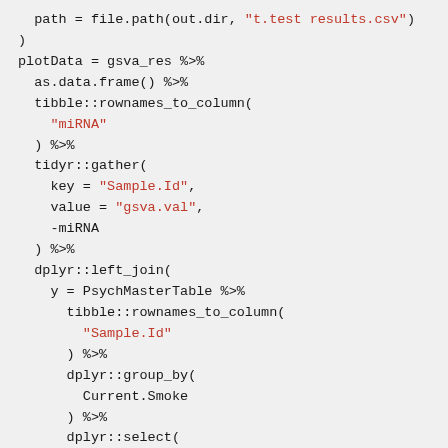path = file.path(out.dir, "t.test results.csv")
)

plotData = gsva_res %>%
  as.data.frame() %>%
  tibble::rownames_to_column(
    "miRNA"
  ) %>%
  tidyr::gather(
    key = "Sample.Id",
    value = "gsva.val",
    -miRNA
  ) %>%
  dplyr::left_join(
    y = PsychMasterTable %>%
      tibble::rownames_to_column(
        "Sample.Id"
      ) %>%
      dplyr::group_by(
        Current.Smoke
      ) %>%
      dplyr::select(
        Current.Smoke,